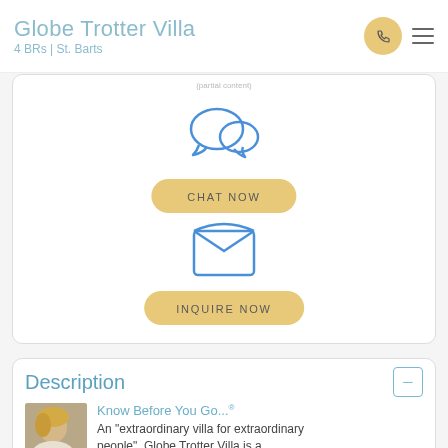Globe Trotter Villa
4 BRs | St. Barts
[Figure (screenshot): Chat Now button with chat bubble icon and Inquire Now button with envelope icon inside a white card]
Description
[Figure (photo): Blonde woman with sunglasses looking sideways]
Know Before You Go...®
An "extraordinary villa for extraordinary people", Globe Trotter Villa is a